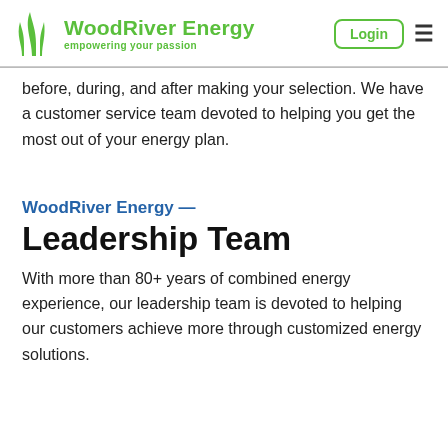WoodRiver Energy — empowering your passion | Login
before, during, and after making your selection. We have a customer service team devoted to helping you get the most out of your energy plan.
WoodRiver Energy —
Leadership Team
With more than 80+ years of combined energy experience, our leadership team is devoted to helping our customers achieve more through customized energy solutions.